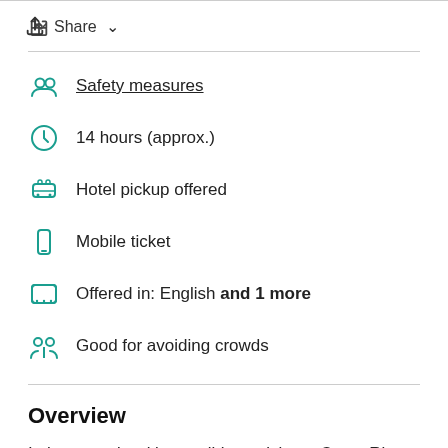Share
Safety measures
14 hours (approx.)
Hotel pickup offered
Mobile ticket
Offered in: English and 1 more
Good for avoiding crowds
Overview
In just one day, it's possible to visit top Costa Rica attractions like Arenal Volcano, La Paz Waterfall, and